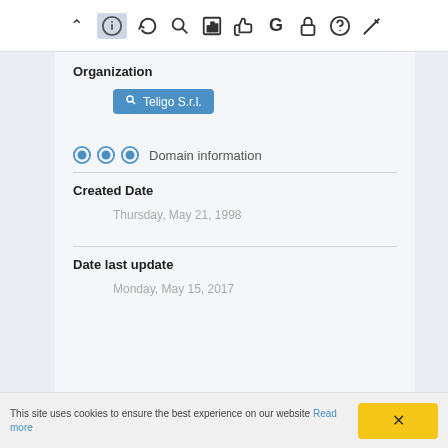[Figure (screenshot): Browser toolbar with navigation and utility icons including up arrow, info, refresh, search, bar chart, thumbs up, Google G, lock, help, and pen icons. The info icon has an active/highlighted background.]
Organization
Teligo S.r.l.
Domain information
Created Date
Thursday, May 21, 1998
Date last update
Monday, May 15, 2017
This site uses cookies to ensure the best experience on our website Read more